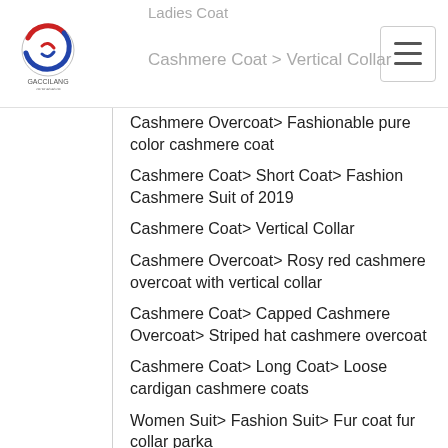Ladies Coat | Cashmere Coat > Vertical Collar
Cashmere Overcoat > Fashionable pure color cashmere coat
Cashmere Coat > Short Coat > Fashion Cashmere Suit of 2019
Cashmere Coat > Vertical Collar
Cashmere Overcoat > Rosy red cashmere overcoat with vertical collar
Cashmere Coat > Capped Cashmere Overcoat > Striped hat cashmere overcoat
Cashmere Coat > Long Coat > Loose cardigan cashmere coats
Women Suit > Fashion Suit > Fur coat fur collar parka
Cashmere Coat > Capped Cashmere Overcoat > Beige double-breasted cashmere overcoat